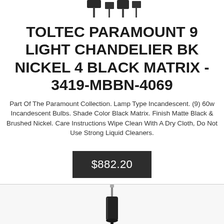[Figure (photo): Top portion of a chandelier product photo, cropped at the top of the page showing the upper structure of the chandelier]
TOLTEC PARAMOUNT 9 LIGHT CHANDELIER BK NICKEL 4 BLACK MATRIX - 3419-MBBN-4069
Part Of The Paramount Collection. Lamp Type Incandescent. (9) 60w Incandescent Bulbs. Shade Color Black Matrix. Finish Matte Black & Brushed Nickel. Care Instructions Wipe Clean With A Dry Cloth, Do Not Use Strong Liquid Cleaners.
$882.20
[Figure (photo): Bottom portion of another chandelier product photo, showing the upper part of a pendant/chandelier with black finish against white background]